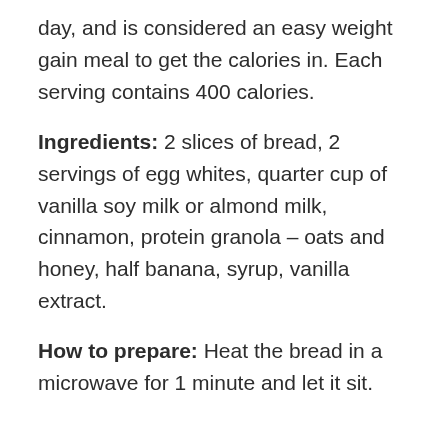day, and is considered an easy weight gain meal to get the calories in. Each serving contains 400 calories.
Ingredients: 2 slices of bread, 2 servings of egg whites, quarter cup of vanilla soy milk or almond milk, cinnamon, protein granola – oats and honey, half banana, syrup, vanilla extract.
How to prepare: Heat the bread in a microwave for 1 minute and let it sit.